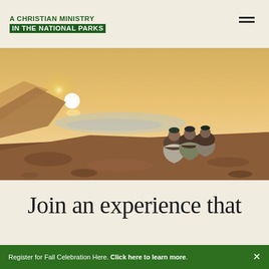A CHRISTIAN MINISTRY IN THE NATIONAL PARKS
[Figure (photo): Three young people wrapped in sleeping bags or blankets sitting together on a rocky cliff edge at sunset, with an orange-yellow sky, mountains, and a river or lake visible in the distant valley below.]
Join an experience that
Register for Fall Celebration Here. Click here to learn more.